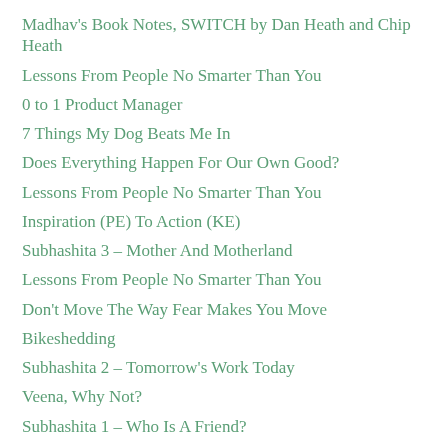Madhav's Book Notes, SWITCH by Dan Heath and Chip Heath
Lessons From People No Smarter Than You
0 to 1 Product Manager
7 Things My Dog Beats Me In
Does Everything Happen For Our Own Good?
Lessons From People No Smarter Than You
Inspiration (PE) To Action (KE)
Subhashita 3 – Mother And Motherland
Lessons From People No Smarter Than You
Don't Move The Way Fear Makes You Move
Bikeshedding
Subhashita 2 – Tomorrow's Work Today
Veena, Why Not?
Subhashita 1 – Who Is A Friend?
Lessons From People No Smarter Than You